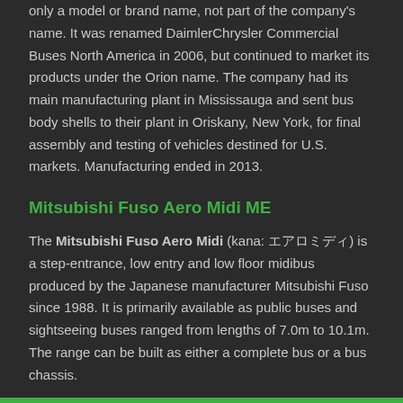only a model or brand name, not part of the company's name. It was renamed DaimlerChrysler Commercial Buses North America in 2006, but continued to market its products under the Orion name. The company had its main manufacturing plant in Mississauga and sent bus body shells to their plant in Oriskany, New York, for final assembly and testing of vehicles destined for U.S. markets. Manufacturing ended in 2013.
Mitsubishi Fuso Aero Midi ME
The Mitsubishi Fuso Aero Midi (kana: エアロミディ) is a step-entrance, low entry and low floor midibus produced by the Japanese manufacturer Mitsubishi Fuso since 1988. It is primarily available as public buses and sightseeing buses ranged from lengths of 7.0m to 10.1m. The range can be built as either a complete bus or a bus chassis.
The Mitsubishi Fuso MK Series was built between 1974 and 1988. The Aero Midi appeared in 1988 after the replacement for the